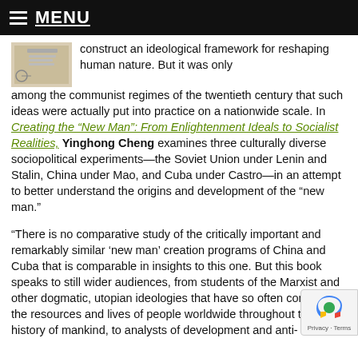MENU
[Figure (photo): Small thumbnail image of a book cover]
construct an ideological framework for reshaping human nature. But it was only among the communist regimes of the twentieth century that such ideas were actually put into practice on a nationwide scale. In Creating the “New Man”: From Enlightenment Ideals to Socialist Realities, Yinghong Cheng examines three culturally diverse sociopolitical experiments—the Soviet Union under Lenin and Stalin, China under Mao, and Cuba under Castro—in an attempt to better understand the origins and development of the “new man.”
“There is no comparative study of the critically important and remarkably similar ‘new man’ creation programs of China and Cuba that is comparable in insights to this one. But this book speaks to still wider audiences, from students of the Marxist and other dogmatic, utopian ideologies that have so often consumed the resources and lives of people worldwide throughout the history of mankind, to analysts of development and anti-development strategies,” —William Ratiff